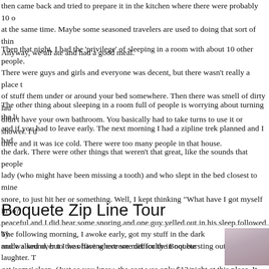then came back and tried to prepare it in the kitchen where there were probably 10 other people at the same time. Maybe some seasoned travelers are used to doing that sort of thing. Anyway, we all ate and had a good meal.
Then that night, I had the 'privilege' of sleeping in a room with about 10 other people. There were guys and girls and everyone was decent, but there wasn't really a place to put stuff them under or around your bed somewhere. Then there was smell of dirty laundry. You didn't have your own bathroom. You basically had to take turns to use it or shower. I did shower there and it was ice cold. There were too many people in that house.
The other thing about sleeping in a room full of people is worrying about turning the light on and if you had to leave early. The next morning I had a zipline trek planned and I had to pack in the dark. There were other things that weren't that great, like the sounds that people make. The lady (who might have been missing a tooth) and who slept in the bed closest to mine would snore, to just hit her or something. Well, I kept thinking "What have I got myself in to?" It was peaceful and I did hear some snoring and one guy yelled out in his sleep followed by what made a sound, but I was having extreme difficulty in not bursting out with laughter. The I did get 'some' sleep. (Just so you know, the cost was only $12/night at this place. It looked fine for 2 nights. Well the next time, I think I'll splurge for the nice $40 place where I c
Boquete Zip Line Tour
The following morning, I awoke early, got my stuff in the dark and walked over to the office where we met for the Boquete
[Figure (photo): A photo showing a tree silhouette against a purple/pink sky at dusk or dawn]